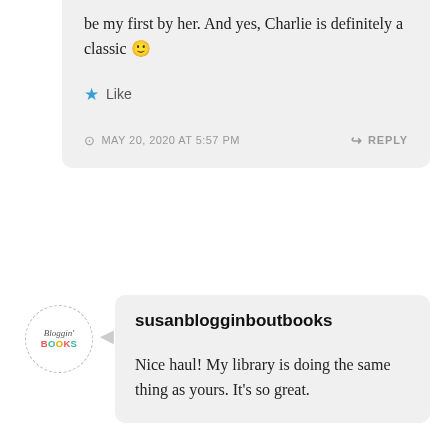be my first by her. And yes, Charlie is definitely a classic 🙂
Like
MAY 20, 2020 AT 5:57 PM
REPLY
[Figure (logo): Bloggin Books circular logo with dashed border]
susanblogginboutbooks
Nice haul! My library is doing the same thing as yours. It's so great.